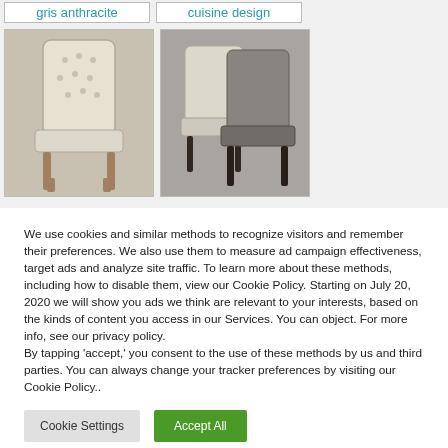gris anthracite
cuisine design
[Figure (photo): A single upholstered dining chair with button tufting and light wooden legs, beige/cream fabric]
[Figure (photo): Two upholstered dining chairs side by side, one cream and one grey/charcoal, with dark legs]
We use cookies and similar methods to recognize visitors and remember their preferences. We also use them to measure ad campaign effectiveness, target ads and analyze site traffic. To learn more about these methods, including how to disable them, view our Cookie Policy. Starting on July 20, 2020 we will show you ads we think are relevant to your interests, based on the kinds of content you access in our Services. You can object. For more info, see our privacy policy.
By tapping ‘accept,’ you consent to the use of these methods by us and third parties. You can always change your tracker preferences by visiting our Cookie Policy..
Cookie Settings
Accept All